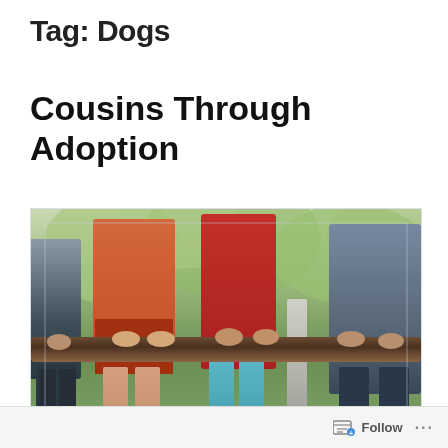Tag: Dogs
Cousins Through Adoption
[Figure (photo): Children standing side by side on a wooden fence rail or climbing frame, outdoors with green foliage in the background. Only lower bodies and hands visible. Children wearing orange, red, teal and gray/blue clothing.]
Follow